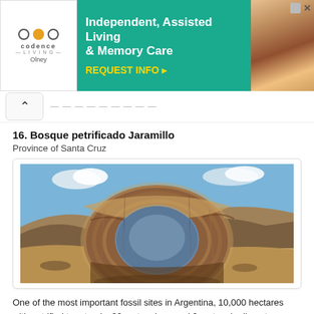[Figure (infographic): Advertisement banner for Codence Living Olney: logo with dots on left, teal background with text 'Independent, Assisted Living & Memory Care' and 'REQUEST INFO ▸' in yellow, photo of couple on right]
^
16. Bosque petrificado Jaramillo
Province of Santa Cruz
[Figure (photo): Large hollow petrified tree trunk cross-section standing upright in an arid rocky desert landscape under blue sky with white clouds, Bosque petrificado Jaramillo, Santa Cruz, Argentina]
One of the most important fossil sites in Argentina, 10,000 hectares with petrified tree trunks 30 meters long and 2 meters in diameter.